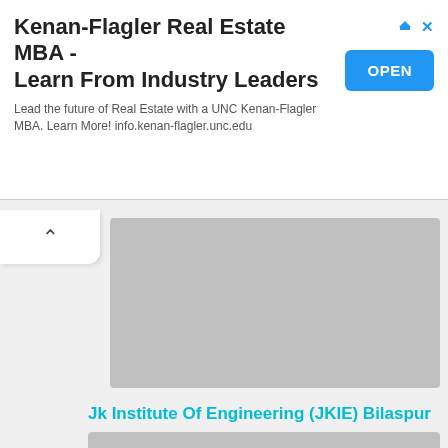[Figure (screenshot): Advertisement banner for Kenan-Flagler Real Estate MBA with OPEN button, ad icons (arrow and X) in top right corner]
Jk Institute Of Engineering (JKIE) Bilaspur
[Figure (photo): Gray placeholder image for Jk Institute Of Engineering (JKIE) Bilaspur listing]
[Figure (photo): Second gray placeholder image below the institute listing]